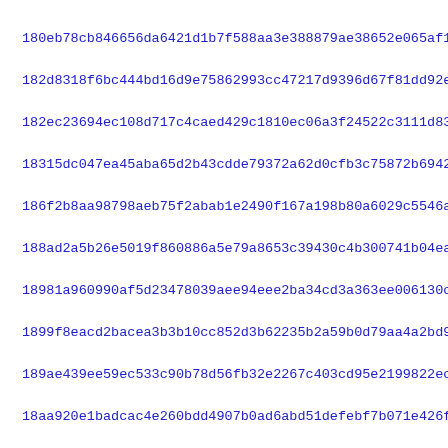180eb78cb846656da6421d1b7f588aa3e388879ae38652e065af1ffbb6f58
182d8318f6bc444bd16d9e75862993cc47217d9396d67f81dd92e4bc4db27
182ec23694ec108d717c4caed429c1810ec06a3f24522c3111d834551f79c
18315dc047ea45aba65d2b43cdde79372a62d0cfb3c75872b6942e724539d
186f2b8aa98798aeb75f2abab1e2490f167a198b80a6029c5546ae6384fc5
188ad2a5b26e5019f860886a5e79a8653c39430c4b300741b04ead3168100
18981a960990af5d23478039aee94eee2ba34cd3a363ee006130cb07e1e1b
1899f8eacd2bacea3b3b10cc852d3b62235b2a59b0d79aa4a2bd9d80826ba
189ae439ee59ec533c90b78d56fb32e2267c403cd95e2199822ecec721076
18aa920e1badcac4e260bdd4907b0ad6abd51defebf7b071e426f456bc829